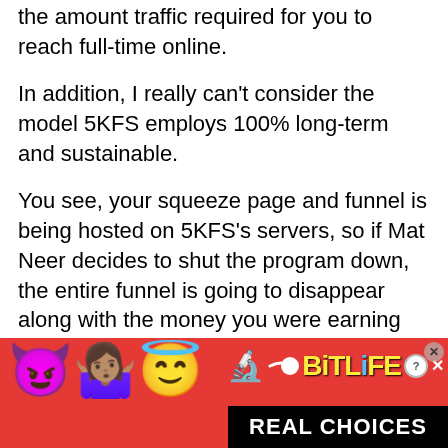the amount traffic required for you to reach full-time online.
In addition, I really can't consider the model 5KFS employs 100% long-term and sustainable.
You see, your squeeze page and funnel is being hosted on 5KFS's servers, so if Mat Neer decides to shut the program down, the entire funnel is going to disappear along with the money you were earning through it. The good news is that whatever happens with the system, you still own 100% of the emails you've gathered since they will all be stored on a list which is hosted on a 3rd
[Figure (other): Advertisement banner for BitLife game app. Red background with emojis (devil, woman shrugging, angel/halo face, sperm emoji), BitLife logo in yellow, close button, and 'REAL CHOICES' text in white on black bar.]